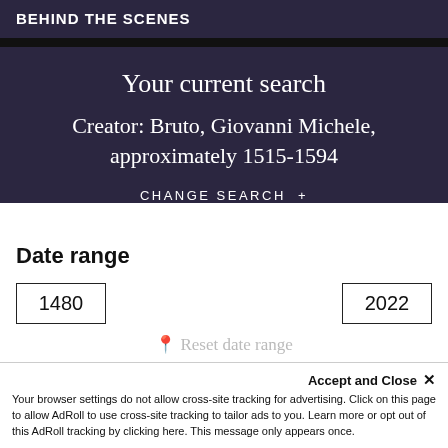BEHIND THE SCENES
Your current search
Creator: Bruto, Giovanni Michele, approximately 1515-1594
CHANGE SEARCH +
Date range
1480
2022
Accept and Close ×
Your browser settings do not allow cross-site tracking for advertising. Click on this page to allow AdRoll to use cross-site tracking to tailor ads to you. Learn more or opt out of this AdRoll tracking by clicking here. This message only appears once.
Reset date range